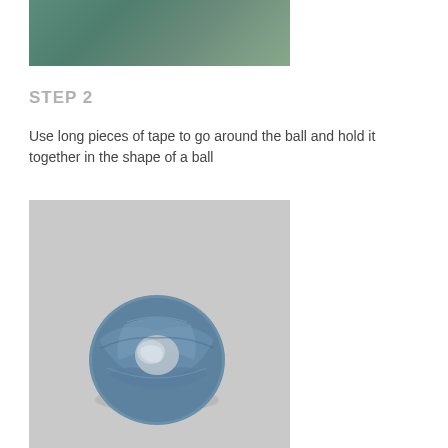[Figure (photo): Top portion of a photo showing a green surface or table, partially cropped at the top of the page]
STEP 2
Use long pieces of tape to go around the ball and hold it together in the shape of a ball
[Figure (photo): A blue tape ball resting on a light gray surface, showing tape wrapped around it in various directions with some silvery tape visible]